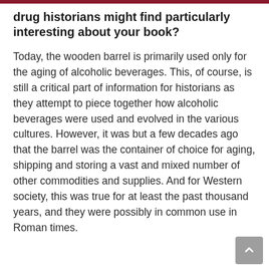drug historians might find particularly interesting about your book?
Today, the wooden barrel is primarily used only for the aging of alcoholic beverages. This, of course, is still a critical part of information for historians as they attempt to piece together how alcoholic beverages were used and evolved in the various cultures. However, it was but a few decades ago that the barrel was the container of choice for aging, shipping and storing a vast and mixed number of other commodities and supplies. And for Western society, this was true for at least the past thousand years, and they were possibly in common use in Roman times.